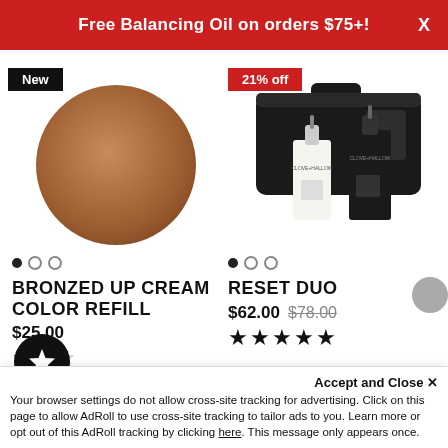Free Balancing Oil on orders $75+!
[Figure (photo): Bronzed Up Cream Color Refill product image – round circular pan of warm brown/bronzer cream]
New
BRONZED UP CREAM COLOR REFILL
$25.00
[Figure (photo): Reset Duo product image – black toiletry bag with two dropper bottles labeled Clove+Hallow]
21% off
RESET DUO
$62.00  $78.00
★★★★★
Accept and Close ✕
Your browser settings do not allow cross-site tracking for advertising. Click on this page to allow AdRoll to use cross-site tracking to tailor ads to you. Learn more or opt out of this AdRoll tracking by clicking here. This message only appears once.